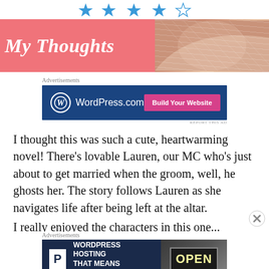[Figure (other): Five star rating icons in teal/blue, four filled and one outline/empty]
[Figure (illustration): My Thoughts banner with pink background and script title on left, open book photo on right]
Advertisements
[Figure (other): WordPress.com advertisement banner with blue background, WordPress logo and Build Your Website pink button]
REPORT THIS AD
I thought this was such a cute, heartwarming novel! There’s lovable Lauren, our MC who’s just about to get married when the groom, well, he ghosts her. The story follows Lauren as she navigates life after being left at the altar.
Advertisements
[Figure (other): WordPress Hosting That Means Business advertisement with dark navy background, P logo box, and OPEN sign image on right]
REPORT THIS AD